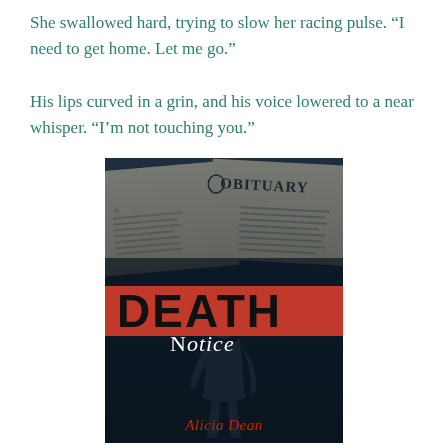She swallowed hard, trying to slow her racing pulse. “I need to get home. Let me go.”

His lips curved in a grin, and his voice lowered to a near whisper. “I’m not touching you.”
[Figure (illustration): Book cover of 'Death Notice' by Alicia Dean. Dark blue-toned cover showing a shadowy silhouette of a person standing. In the upper portion, a newspaper with 'OBITUARY' heading is visible. A bold red and black banner across the middle reads 'DEATH' in large letters, with 'Notice' in white serif text below it. At the bottom, the author name 'Alicia Dean' appears in red script lettering.]